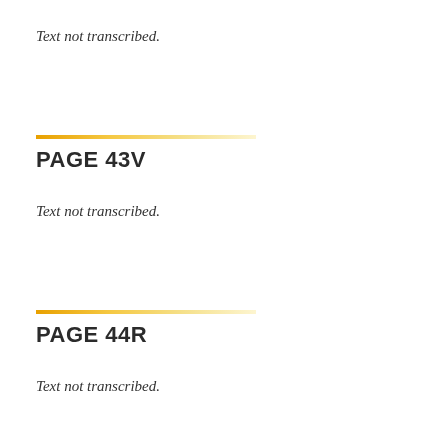Text not transcribed.
PAGE 43V
Text not transcribed.
PAGE 44R
Text not transcribed.